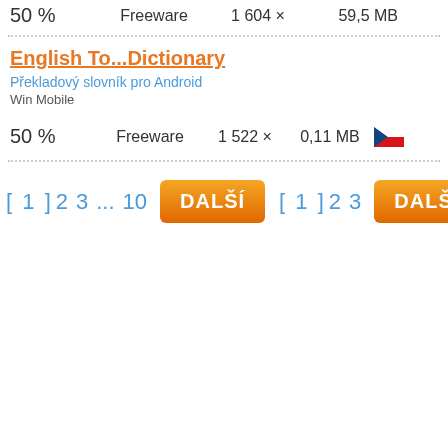50 %   Freeware   1 604 ×   59,5 MB
English To...Dictionary
Překladový slovník pro Android
Win Mobile
50 %   Freeware   1 522 ×   0,11 MB
[ 1 ] 2 3 ... 10   DALŠÍ   [ 1 ] 2 3   DALŠÍ